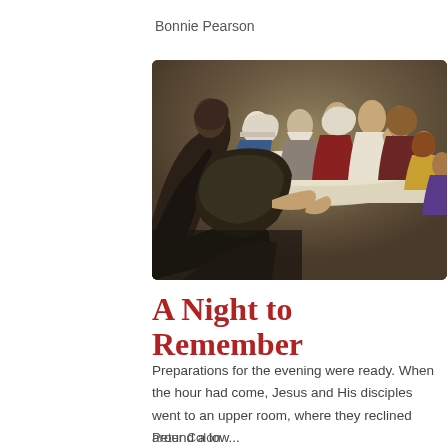Bonnie Pearson
[Figure (illustration): Painting depicting the Last Supper scene with Jesus and his disciples reclining around a table with food and dishes. Jesus is shown at center-right with disciples surrounding the table. Dark robed figures occupy the foreground.]
A Night to Remember
Preparations for the evening were ready. When the hour had come, Jesus and His disciples went to an upper room, where they reclined around a low...
Peter Colón